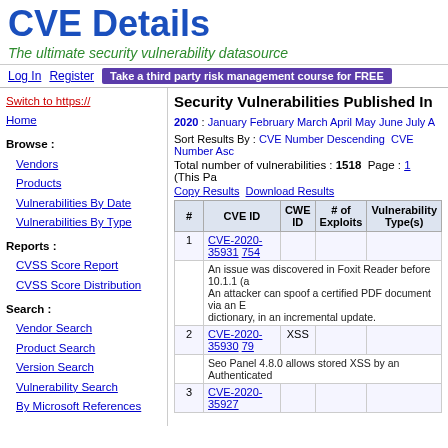CVE Details
The ultimate security vulnerability datasource
Log In  Register  Take a third party risk management course for FREE
Switch to https://
Home
Browse :
Vendors
Products
Vulnerabilities By Date
Vulnerabilities By Type
Reports :
CVSS Score Report
CVSS Score Distribution
Search :
Vendor Search
Product Search
Version Search
Vulnerability Search
By Microsoft References
Top 50 :
Vendors
Vendor Cvss Scores
Security Vulnerabilities Published In
2020 : January February March April May June July A
Sort Results By : CVE Number Descending  CVE Number Asc
Total number of vulnerabilities : 1518   Page : 1  (This Pa
Copy Results  Download Results
| # | CVE ID | CWE ID | # of Exploits | Vulnerability Type(s) |
| --- | --- | --- | --- | --- |
| 1 | CVE-2020-35931  754 |  |  |  |
|  | An issue was discovered in Foxit Reader before 10.1.1 (a
An attacker can spoof a certified PDF document via an E
dictionary, in an incremental update. |  |  |  |
| 2 | CVE-2020-35930  79 | XSS |  |  |
|  | Seo Panel 4.8.0 allows stored XSS by an Authenticated |  |  |  |
| 3 | CVE-2020-35927 |  |  |  |